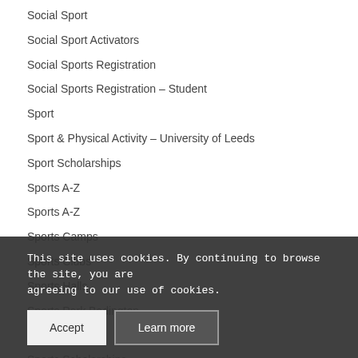Social Sport
Social Sport Activators
Social Sports Registration
Social Sports Registration – Student
Sport
Sport & Physical Activity – University of Leeds
Sport Scholarships
Sports A-Z
Sports A-Z
Sports Camps
Sports Clubs
Sports Halls
Sports Park Bodington
Sports Parks
Sports Scholarships
Sports Science Practitioners Portfolios
This site uses cookies. By continuing to browse the site, you are agreeing to our use of cookies.